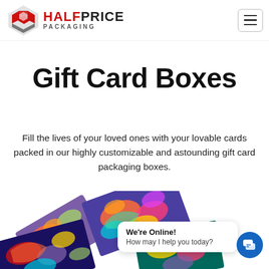Half Price Packaging — navigation header with logo and hamburger menu
Gift Card Boxes
Fill the lives of your loved ones with your lovable cards packed in our highly customizable and astounding gift card packaging boxes.
[Figure (photo): Colorful gift card boxes with abstract swirl patterns in purple, pink, orange, teal and yellow colors, displayed at an angle]
We're Online! How may I help you today?